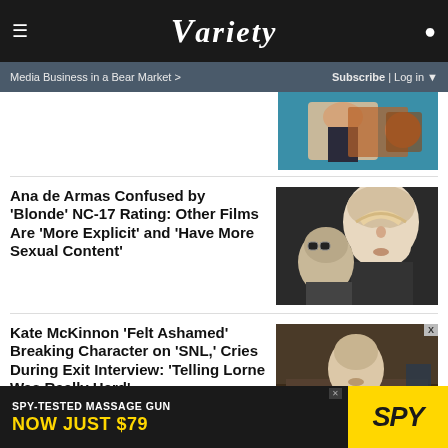VARIETY
Media Business in a Bear Market > | Subscribe | Log in
[Figure (photo): Partial view of a man in formal attire holding a trophy/award, teal background]
Ana de Armas Confused by 'Blonde' NC-17 Rating: Other Films Are 'More Explicit' and 'Have More Sexual Content'
[Figure (photo): Black and white photo of Ana de Armas as Marilyn Monroe in Blonde, with another person partially visible]
Kate McKinnon 'Felt Ashamed' Breaking Character on 'SNL,' Cries During Exit Interview: 'Telling Lorne Was Really Hard'
[Figure (photo): Kate McKinnon in a scene, wearing a light-colored top, holding something]
[Figure (photo): Advertisement: SPY-TESTED MASSAGE GUN NOW JUST $79 with SPY logo]